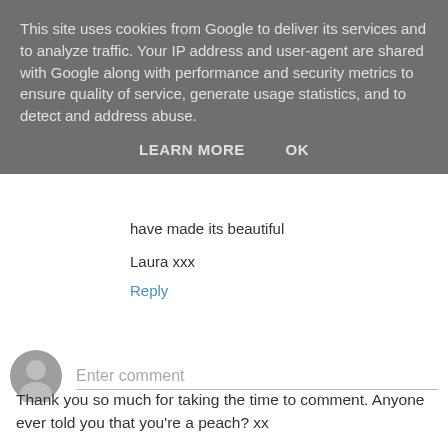This site uses cookies from Google to deliver its services and to analyze traffic. Your IP address and user-agent are shared with Google along with performance and security metrics to ensure quality of service, generate usage statistics, and to detect and address abuse.
LEARN MORE    OK
have made its beautiful
Laura xxx
Reply
[Figure (illustration): Generic user avatar icon — grey silhouette of a person]
Enter comment
Thank you so much for taking the time to comment. Anyone ever told you that you're a peach? xx